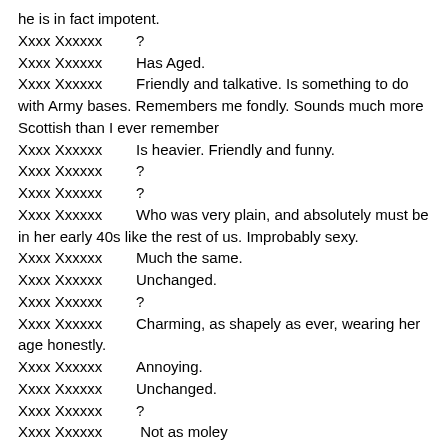he is in fact impotent.
Xxxx Xxxxxx   ?
Xxxx Xxxxxx   Has Aged.
Xxxx Xxxxxx   Friendly and talkative. Is something to do with Army bases. Remembers me fondly. Sounds much more Scottish than I ever remember
Xxxx Xxxxxx   Is heavier. Friendly and funny.
Xxxx Xxxxxx   ?
Xxxx Xxxxxx   ?
Xxxx Xxxxxx   Who was very plain, and absolutely must be in her early 40s like the rest of us. Improbably sexy.
Xxxx Xxxxxx   Much the same.
Xxxx Xxxxxx   Unchanged.
Xxxx Xxxxxx   ?
Xxxx Xxxxxx   Charming, as shapely as ever, wearing her age honestly.
Xxxx Xxxxxx   Annoying.
Xxxx Xxxxxx   Unchanged.
Xxxx Xxxxxx   ?
Xxxx Xxxxxx   Not as moley
Xxxx Xxxxxx   ?
Xxxx Xxxxxx   ?